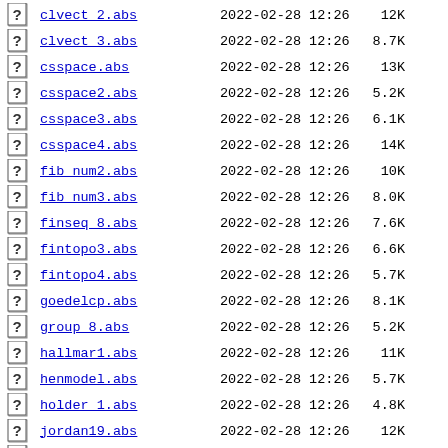clvect 2.abs  2022-02-28 12:26  12K
clvect 3.abs  2022-02-28 12:26  8.7K
csspace.abs  2022-02-28 12:26  13K
csspace2.abs  2022-02-28 12:26  5.2K
csspace3.abs  2022-02-28 12:26  6.1K
csspace4.abs  2022-02-28 12:26  14K
fib num2.abs  2022-02-28 12:26  10K
fib num3.abs  2022-02-28 12:26  8.0K
finseq 8.abs  2022-02-28 12:26  7.6K
fintopo3.abs  2022-02-28 12:26  6.6K
fintopo4.abs  2022-02-28 12:26  5.7K
goedelcp.abs  2022-02-28 12:26  8.1K
group 8.abs  2022-02-28 12:26  5.2K
hallmar1.abs  2022-02-28 12:26  11K
henmodel.abs  2022-02-28 12:26  5.7K
holder 1.abs  2022-02-28 12:26  4.8K
jordan19.abs  2022-02-28 12:26  12K